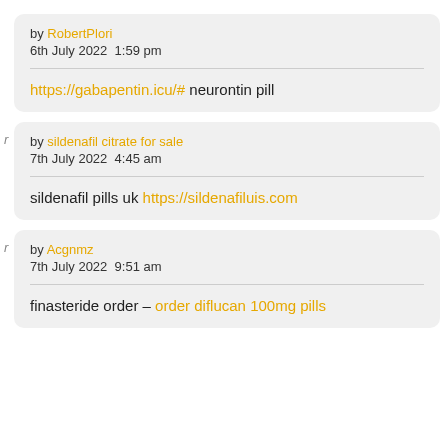by RobertPlori
6th July 2022  1:59 pm
https://gabapentin.icu/# neurontin pill
by sildenafil citrate for sale
7th July 2022  4:45 am
sildenafil pills uk https://sildenafiluis.com
by Acgnmz
7th July 2022  9:51 am
finasteride order – order diflucan 100mg pills